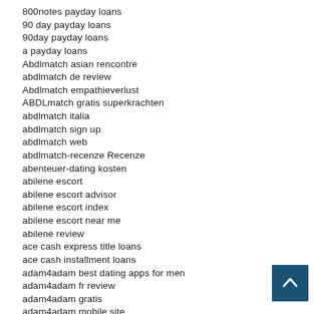800notes payday loans
90 day payday loans
90day payday loans
a payday loans
Abdlmatch asian rencontre
abdlmatch de review
Abdlmatch empathieverlust
ABDLmatch gratis superkrachten
abdlmatch italia
abdlmatch sign up
abdlmatch web
abdlmatch-recenze Recenze
abenteuer-dating kosten
abilene escort
abilene escort advisor
abilene escort index
abilene escort near me
abilene review
ace cash express title loans
ace cash installment loans
adam4adam best dating apps for men
adam4adam fr review
adam4adam gratis
adam4adam mobile site